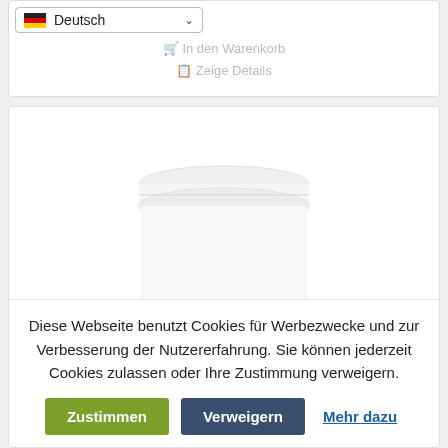[Figure (screenshot): Language selector dropdown showing German flag and 'Deutsch' text with chevron/dropdown arrow]
🛒 In den Warenkorb
☰ Zeige Details
[Figure (photo): White cylindrical product container (BentonitMED or similar) shown from slightly above, with green logo text partially visible at bottom]
Diese Webseite benutzt Cookies für Werbezwecke und zur Verbesserung der Nutzererfahrung. Sie können jederzeit Cookies zulassen oder Ihre Zustimmung verweigern.
Zustimmen
Verweigern
Mehr dazu